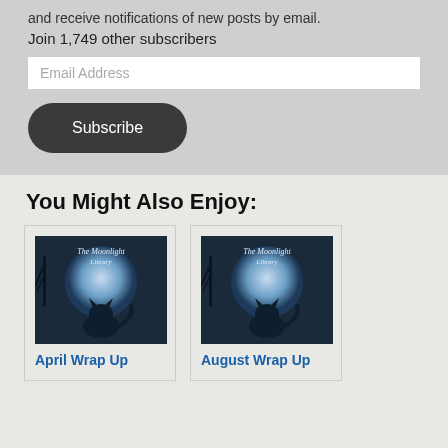and receive notifications of new posts by email.
Join 1,749 other subscribers
Email Address
Subscribe
You Might Also Enjoy:
[Figure (illustration): The Moonlight Library logo — a dark cat silhouette in front of a large blue moon with text 'The Moonlight Library']
April Wrap Up
[Figure (illustration): The Moonlight Library logo — a dark cat silhouette in front of a large blue moon with text 'The Moonlight Library']
August Wrap Up